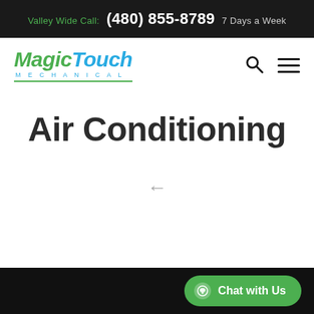Valley Wide Call: (480) 855-8789 7 Days a Week
[Figure (logo): Magic Touch Mechanical logo — 'Magic' in green italic, 'Touch' in blue italic, 'MECHANICAL' in small blue caps below, green underline]
Air Conditioning
Chat with Us